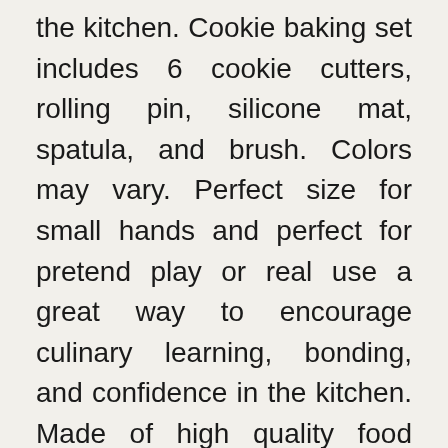the kitchen. Cookie baking set includes 6 cookie cutters, rolling pin, silicone mat, spatula, and brush. Colors may vary. Perfect size for small hands and perfect for pretend play or real use a great way to encourage culinary learning, bonding, and confidence in the kitchen. Made of high quality food grade silicone material that design to be non-stick and dishwasher safethese bake set are real baking tools child cooking set real recyclable, third-party tested bpa free this kit safe for children ages 5 and older.